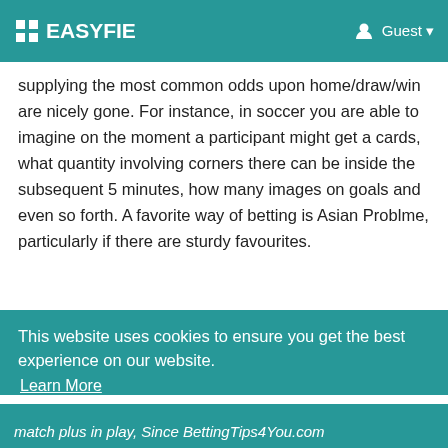EASYFIE  Guest
supplying the most common odds upon home/draw/win are nicely gone. For instance, in soccer you are able to imagine on the moment a participant might get a cards, what quantity involving corners there can be inside the subsequent 5 minutes, how many images on goals and even so forth. A favorite way of betting is Asian Problme, particularly if there are sturdy favourites.
This website uses cookies to ensure you get the best experience on our website. Learn More
Got It!
match plus in play, Since BettingTips4You.com